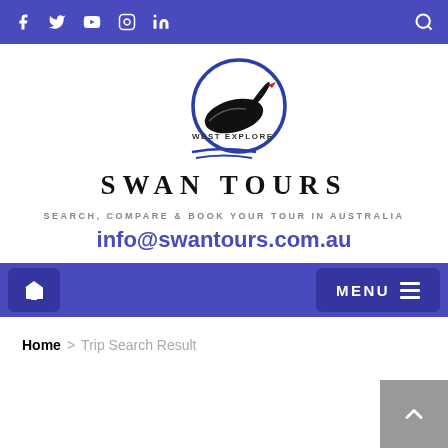Social media icons: Facebook, Twitter, YouTube, Instagram, LinkedIn; Search icon
[Figure (logo): West Explore Swan Tours logo — a black swan with red beak inside a blue circle, with text WEST EXPLORE above and SWAN TOURS below]
SEARCH, COMPARE & BOOK YOUR TOUR IN AUSTRALIA
info@swantours.com.au
Home icon button | MENU button
Home > Trip Search Result